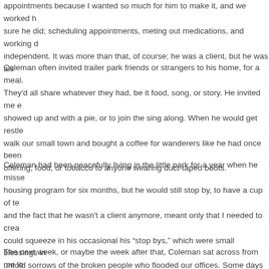appointments because I wanted so much for him to make it, and we worked hard to make sure he did; scheduling appointments, meting out medications, and working on being independent. It was more than that, of course; he was a client, but he was als…
Coleman often invited trailer park friends or strangers to his home, for a meal… They'd all share whatever they had, be it food, song, or story. He invited me e… showed up and with a pie, or to join the sing along. When he would get restle… walk our small town and bought a coffee for wanderers like he had once been… offering, food, or tobacco to anyone wearing duct-taped boots.
Coleman had been peacefully living in the little park for a year when he misse… housing program for six months, but he would still stop by, to have a cup of te… and the fact that he wasn't a client anymore, meant only that I needed to crea… could squeeze in his occasional his “stop bys,” which were small blessings in… untold sorrows of the broken people who flooded our offices. Some days bac… stories like his, I might have thrown in the towel and taken work as a longsh… didn't show up, I talked myself out of calling him several times that day, in ho… controlling influences. Still, even in those first moments, I had a sense, somet… was going wrong.
The next week, or maybe the week after that, Coleman sat across from me lo… unsettled. He wasn't sleeping well, and he was sure someone was following h… conversation, but my friend refused to explain and when he got up to leave, h…